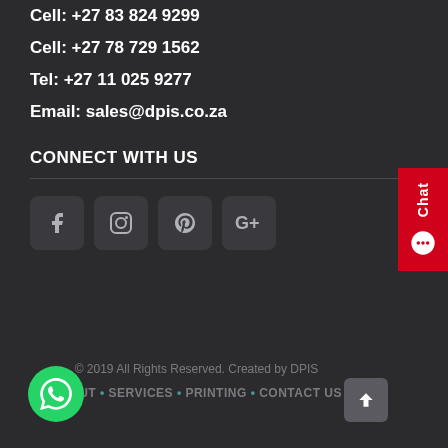Cell: +27 83 824 9299
Cell: +27 78 729 1562
Tel: +27 11 025 9277
Email: sales@dpis.co.za
CONNECT WITH US
[Figure (infographic): Social media icons: Facebook, Instagram, Pinterest, Google+]
[Figure (infographic): Red vertical Chat tab with chat icon on right edge]
© 2019 All Rights Reserved. Created by DPIS
ABOUT • SERVICES • PRINTING • CONTACT US
[Figure (infographic): WhatsApp green circle button, bottom left]
[Figure (infographic): Back to top arrow button, bottom right]